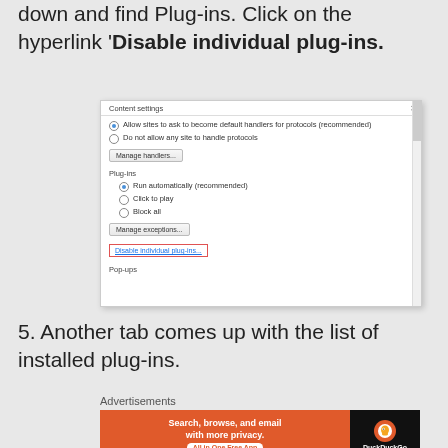down and find Plug-ins. Click on the hyperlink 'Disable individual plug-ins.
[Figure (screenshot): Chrome Content Settings dialog showing Plug-ins section with radio buttons (Run automatically recommended selected, Click to play, Block all), Manage exceptions button, and a red-bordered hyperlink 'Disable individual plug-ins...' at the bottom.]
5. Another tab comes up with the list of installed plug-ins.
[Figure (other): DuckDuckGo advertisement banner: orange background with text 'Search, browse, and email with more privacy. All in One Free App' and DuckDuckGo logo on black background.]